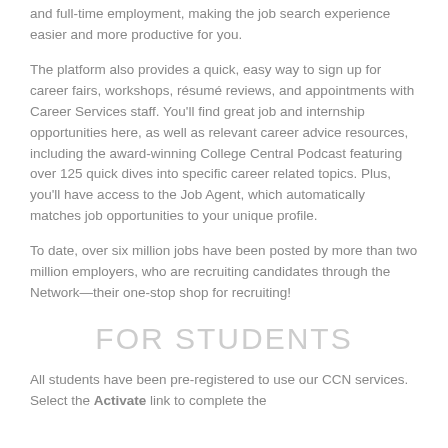and full-time employment, making the job search experience easier and more productive for you.
The platform also provides a quick, easy way to sign up for career fairs, workshops, résumé reviews, and appointments with Career Services staff. You'll find great job and internship opportunities here, as well as relevant career advice resources, including the award-winning College Central Podcast featuring over 125 quick dives into specific career related topics. Plus, you'll have access to the Job Agent, which automatically matches job opportunities to your unique profile.
To date, over six million jobs have been posted by more than two million employers, who are recruiting candidates through the Network—their one-stop shop for recruiting!
FOR STUDENTS
All students have been pre-registered to use our CCN services. Select the Activate link to complete the